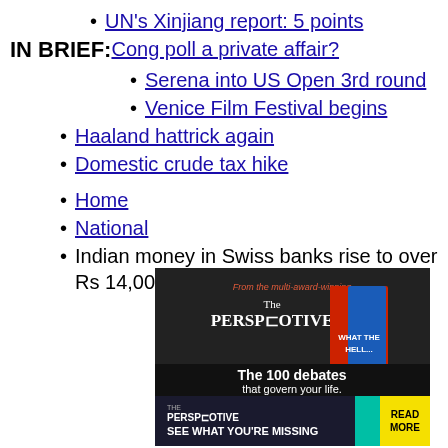UN's Xinjiang report: 5 points
IN BRIEF: Cong poll a private affair?
Serena into US Open 3rd round
Venice Film Festival begins
Haaland hattrick again
Domestic crude tax hike
Home
National
Indian money in Swiss banks rise to over Rs 14,000 cr
[Figure (illustration): Advertisement for The Perspective newsletter/book, showing a book cover 'What The Hell...' with text 'From the multi-award-winning The PERSPECTIVE' and 'The 100 debates that govern your life.' Bottom banner: 'THE PERSPECTIVE SEE WHAT YOU'RE MISSING' with a yellow READ MORE button.]